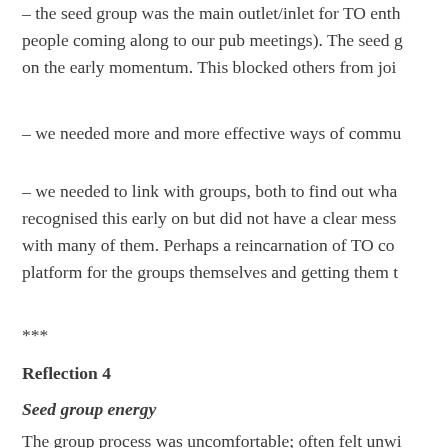– the seed group was the main outlet/inlet for TO enthu people coming along to our pub meetings). The seed g on the early momentum. This blocked others from joi
– we needed more and more effective ways of commu
– we needed to link with groups, both to find out what recognised this early on but did not have a clear messa with many of them. Perhaps a reincarnation of TO cou platform for the groups themselves and getting them to
***
Reflection 4
Seed group energy
The group process was uncomfortable; often felt unwi